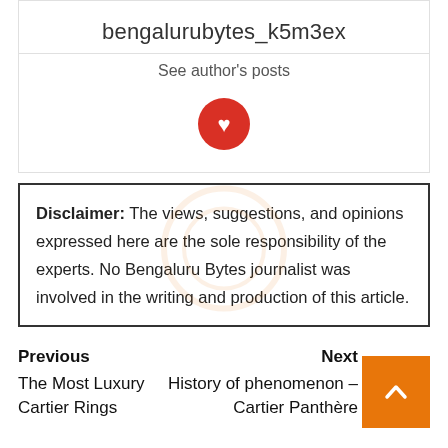bengalurubytes_k5m3ex
See author's posts
[Figure (illustration): Red circle button with a heart/bookmark icon in white]
Disclaimer: The views, suggestions, and opinions expressed here are the sole responsibility of the experts. No Bengaluru Bytes journalist was involved in the writing and production of this article.
Previous
The Most Luxury Cartier Rings
Next
History of phenomenon – Cartier Panthère